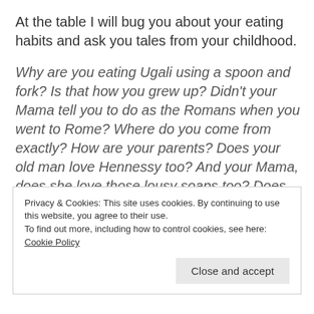At the table I will bug you about your eating habits and ask you tales from your childhood.
Why are you eating Ugali using a spoon and fork? Is that how you grew up? Didn't your Mama tell you to do as the Romans when you went to Rome? Where do you come from exactly? How are your parents? Does your old man love Hennessy too? And your Mama, does she love those lousy soaps too? Does she fight with your old man for the remote when he wants to watch football? What was it you said you do again? How much do you earn? Do you have
Privacy & Cookies: This site uses cookies. By continuing to use this website, you agree to their use.
To find out more, including how to control cookies, see here: Cookie Policy
Close and accept
…right? Mama tells me I will be…